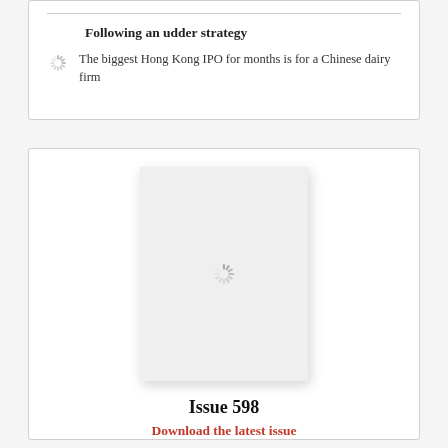Following an udder strategy
The biggest Hong Kong IPO for months is for a Chinese dairy firm
[Figure (other): Loading spinner icon next to article teaser]
[Figure (other): Magazine cover thumbnail placeholder with loading spinner for Issue 598]
Issue 598
Download the latest issue